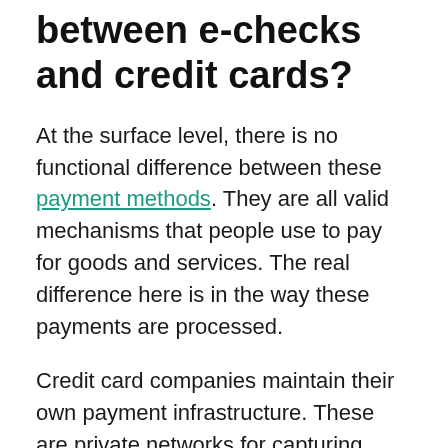What's the difference between e-checks and credit cards?
At the surface level, there is no functional difference between these payment methods. They are all valid mechanisms that people use to pay for goods and services. The real difference here is in the way these payments are processed.
Credit card companies maintain their own payment infrastructure. These are private networks for capturing transactions made by all users of a given credit card. Because of this